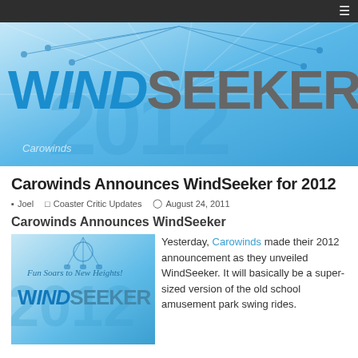≡
[Figure (illustration): WindSeeker 2012 hero banner with large blue text 'WINDSEEKER' and '2012' watermark, Carowinds branding, light blue background with decorative rays]
Carowinds Announces WindSeeker for 2012
Joel  Coaster Critic Updates  August 24, 2011
Carowinds Announces WindSeeker
[Figure (illustration): WindSeeker promotional image with 'Fun Soars to New Heights!' tagline and blue WindSeeker logo on light blue background with 2012 watermark]
Yesterday, Carowinds made their 2012 announcement as they unveiled WindSeeker. It will basically be a super-sized version of the old school amusement park swing rides.